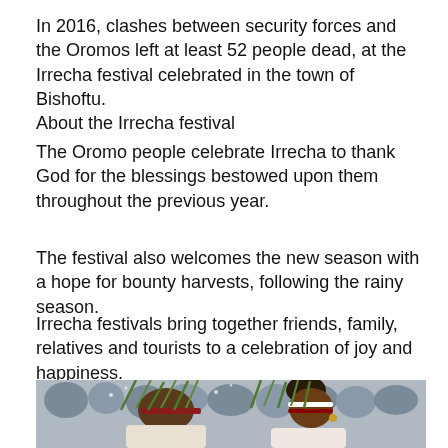In 2016, clashes between security forces and the Oromos left at least 52 people dead, at the Irrecha festival celebrated in the town of Bishoftu.
About the Irrecha festival
The Oromo people celebrate Irrecha to thank God for the blessings bestowed upon them throughout the previous year.
The festival also welcomes the new season with a hope for bounty harvests, following the rainy season.
Irrecha festivals bring together friends, family, relatives and tourists to a celebration of joy and happiness.
[Figure (photo): Photo of people at the Irrecha festival holding green grass/plants up, wearing traditional headbands and clothing. Two main figures in the foreground, a crowd visible in the background.]